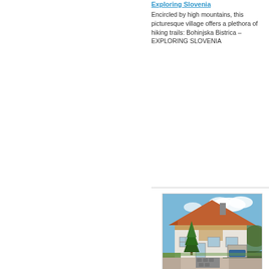Exploring Slovenia
Encircled by high mountains, this picturesque village offers a plethora of hiking trails: Bohinjska Bistrica – EXPLORING SLOVENIA
[Figure (photo): Exterior photo of a house/apartment building with orange tiled roof, white walls, wooden balcony trim, a conifer tree in front, stone wall and driveway, blue sky with clouds in the background.]
Apartments Trentelj Bled